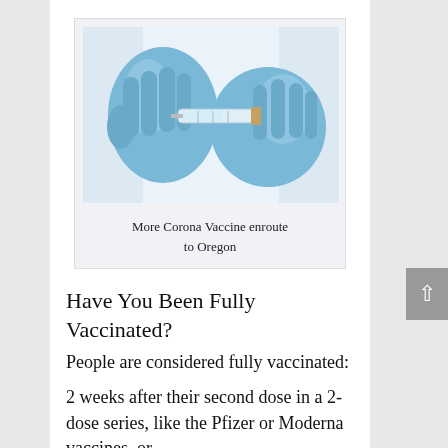[Figure (photo): Close-up photo of hands in blue medical gloves handling a syringe, with a white lab coat visible in background. Vaccine administration image.]
More Corona Vaccine enroute to Oregon
Have You Been Fully Vaccinated?
People are considered fully vaccinated:
2 weeks after their second dose in a 2-dose series, like the Pfizer or Moderna vaccines, or
2 weeks after a single-dose